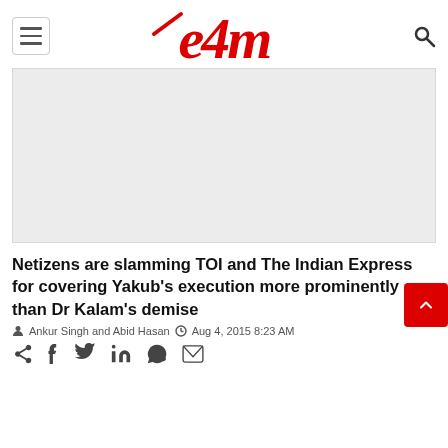e4m
[Figure (photo): Article hero image placeholder (light gray rectangle)]
Netizens are slamming TOI and The Indian Express for covering Yakub's execution more prominently than Dr Kalam's demise
Ankur Singh and Abid Hasan  Aug 4, 2015 8:23 AM